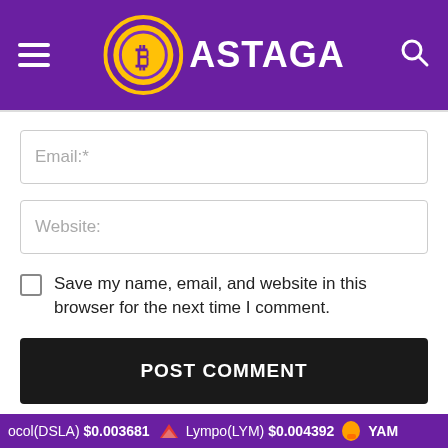BASTAGA - Bitcoin/Crypto website header with hamburger menu and search icon
Email:*
Website:
Save my name, email, and website in this browser for the next time I comment.
POST COMMENT
[Figure (other): 300x250 Ad placeholder block in teal color]
ocol(DSLA) $0.003681   Lympo(LYM) $0.004392   YAM